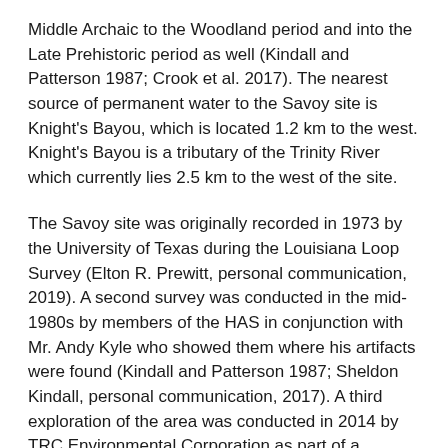Middle Archaic to the Woodland period and into the Late Prehistoric period as well (Kindall and Patterson 1987; Crook et al. 2017). The nearest source of permanent water to the Savoy site is Knight's Bayou, which is located 1.2 km to the west. Knight's Bayou is a tributary of the Trinity River which currently lies 2.5 km to the west of the site.
The Savoy site was originally recorded in 1973 by the University of Texas during the Louisiana Loop Survey (Elton R. Prewitt, personal communication, 2019). A second survey was conducted in the mid-1980s by members of the HAS in conjunction with Mr. Andy Kyle who showed them where his artifacts were found (Kindall and Patterson 1987; Sheldon Kindall, personal communication, 2017). A third exploration of the area was conducted in 2014 by TRC Environmental Corporation as part of a pipeline right-of-way survey. TRC conducted 21 shovel tests over both the north and southern portions of the site. Nine of the 21 shovel tests contained cultural materials including a Gary point, an Alba point, and